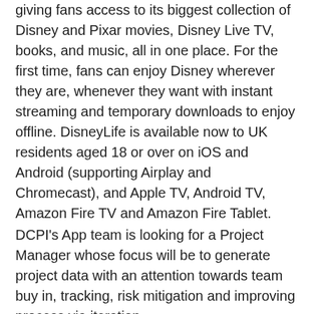giving fans access to its biggest collection of Disney and Pixar movies, Disney Live TV, books, and music, all in one place. For the first time, fans can enjoy Disney wherever they are, whenever they want with instant streaming and temporary downloads to enjoy offline. DisneyLife is available now to UK residents aged 18 or over on iOS and Android (supporting Airplay and Chromecast), and Apple TV, Android TV, Amazon Fire TV and Amazon Fire Tablet.
DCPI's App team is looking for a Project Manager whose focus will be to generate project data with an attention towards team buy in, tracking, risk mitigation and improving process via iteration.
The ideal candidate will possess a positive attitude and an open mind with the ability to look at things